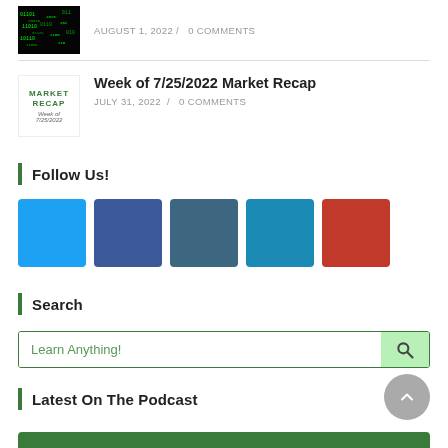[Figure (screenshot): Matrix-style dark green code thumbnail image]
AUGUST 1, 2022 / 0 COMMENTS
[Figure (screenshot): Market Recap thumbnail with green text showing 'MARKET RECAP Week of 7/25/2022']
Week of 7/25/2022 Market Recap
JULY 31, 2022 / 0 COMMENTS
Follow Us!
[Figure (infographic): Five social media icon squares: Twitter (light blue), Facebook (dark blue), LinkedIn (steel blue), another platform (medium blue), YouTube/Pinterest (red)]
Search
Learn Anything!
Latest On The Podcast